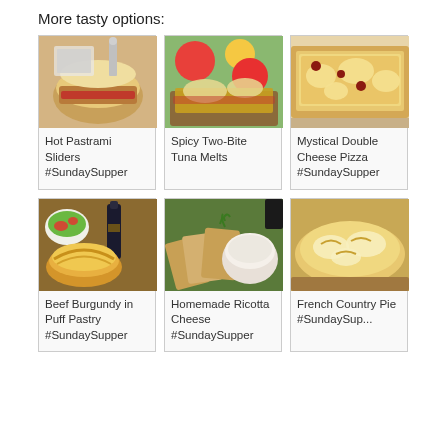More tasty options:
[Figure (photo): Hot Pastrami Sliders - close up of sandwich with chips]
Hot Pastrami Sliders #SundaySupper
[Figure (photo): Spicy Two-Bite Tuna Melts - melted cheese on bread with tomatoes]
Spicy Two-Bite Tuna Melts
[Figure (photo): Mystical Double Cheese Pizza - sliced pizza on board]
Mystical Double Cheese Pizza #SundaySupper
[Figure (photo): Beef Burgundy in Puff Pastry - pastry with salad and wine bottle]
Beef Burgundy in Puff Pastry #SundaySupper
[Figure (photo): Homemade Ricotta Cheese - bread slices with bowl of ricotta]
Homemade Ricotta Cheese #SundaySupper
[Figure (photo): French Country Pie - flatbread with melted cheese]
French Country Pie #SundaySup...